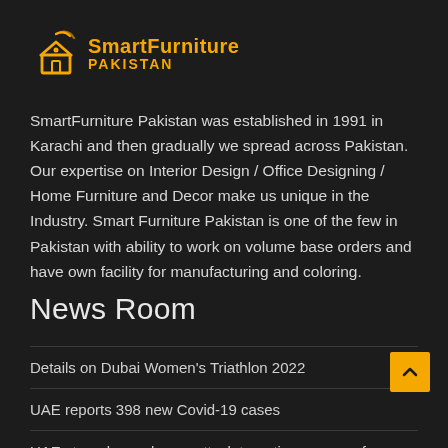[Figure (logo): SmartFurniture Pakistan logo with house/wifi icon in gold/yellow and text 'SmartFurniture PAKISTAN' in bold yellow]
SmartFurniture Pakistan was established in 1991 in Karachi and then gradually we spread across Pakistan. Our expertise on Interior Design / Office Designing / Home Furniture and Decor make us unique in the Industry. Smart Furniture Pakistan is one of the few in Pakistan with ability to work on volume base orders and have own facility for manufacturing and coloring.
News Room
Details on Dubai Women's Triathlon 2022
UAE reports 398 new Covid-19 cases
UAE strongly condemns attack targeting convoy of vehicles in